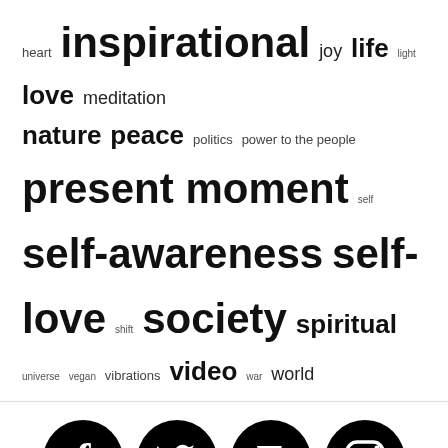heart inspirational joy life light love meditation nature peace politics power to the people present moment self self-awareness self-love shift society spiritual universe vegan vibrations video war world
[Figure (infographic): Four black circle social media icons in a row: Facebook, Twitter, Etsy, Instagram]
Worldwide Shipping
Theme: Overlay by Kaira. [Facebook] [Twitter] [Etsy] [Instagram]